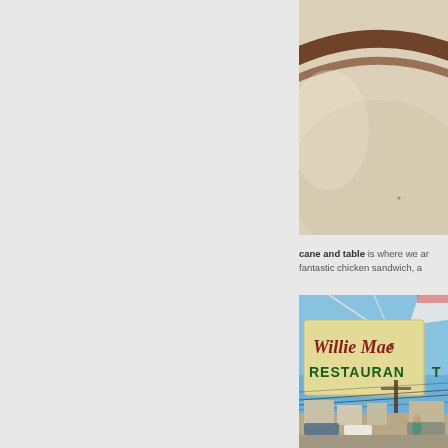[Figure (photo): Close-up photo of a ceramic bowl or plate with brown rim stripe on cream/beige background, partially cropped]
cane and table is where we ar fantastic chicken sandwich, a
[Figure (photo): Exterior photo of Willie Mae's Restaurant sign against a blue sky, with street scene, utility poles, cars, and a person visible below]